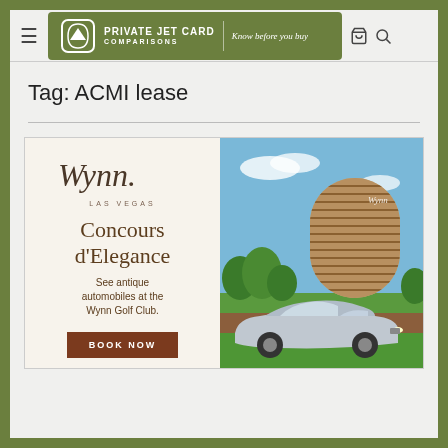Private Jet Card Comparisons — Know before you buy
Tag: ACMI lease
[Figure (illustration): Advertisement for Wynn Las Vegas Concours d'Elegance event. Left side has cream background with Wynn Las Vegas script logo, text 'Concours d'Elegance', 'See antique automobiles at the Wynn Golf Club.', and a brown 'BOOK NOW' button. Right side shows a photo of the Wynn hotel building with a classic silver sports car (Mercedes 300SL) parked on green grass in the foreground.]